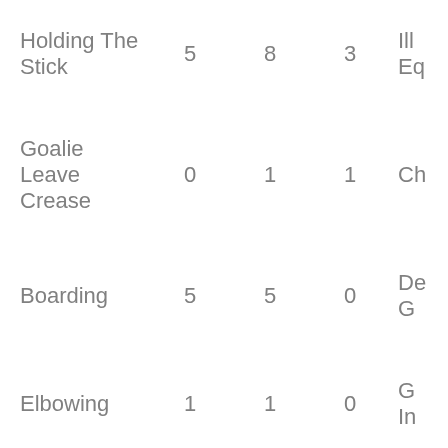| Penalty | Col2 | Col3 | Col4 | Col5 |
| --- | --- | --- | --- | --- |
| Holding The Stick | 5 | 8 | 3 | Ill... Eq... |
| Goalie Leave Crease | 0 | 1 | 1 | Ch... |
| Boarding | 5 | 5 | 0 | De... G... |
| Elbowing | 1 | 1 | 0 | G... In... |
| Fighting | 19 | 19 | 0 | Pu... |